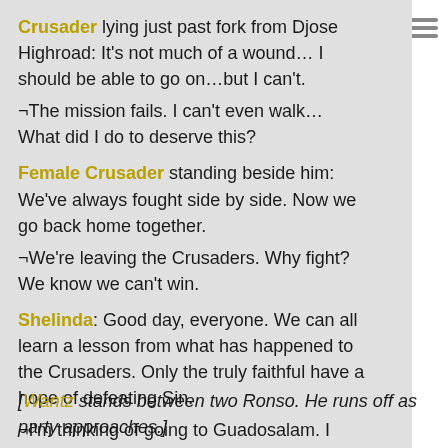Crusader lying just past fork from Djose Highroad: It's not much of a wound… I should be able to go on…but I can't. ¬The mission fails. I can't even walk… What did I do to deserve this?
Female Crusader standing beside him: We've always fought side by side. Now we go back home together. ¬We're leaving the Crusaders. Why fight? We know we can't win.
Shelinda: Good day, everyone. We can all learn a lesson from what has happened to the Crusaders. Only the truly faithful have a hope of defeating Sin. ¬I'm thinking of going to Guadosalam. I have not spoken with the Guado for some time.
[Wantz stands between two Ronso. He runs off as party approaches.]